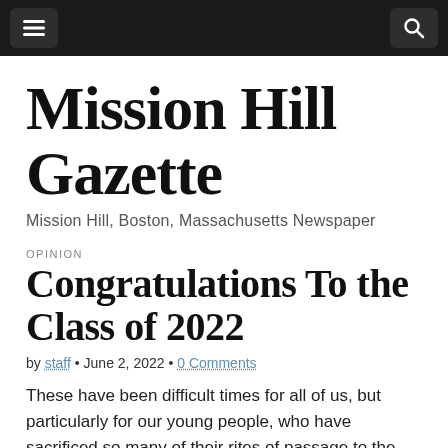Mission Hill Gazette — navigation bar
Mission Hill Gazette
Mission Hill, Boston, Massachusetts Newspaper
OPINION
Congratulations To the Class of 2022
by staff • June 2, 2022 • 0 Comments
These have been difficult times for all of us, but particularly for our young people, who have sacrificed so many of their rites of passage to the demands of the pandemic during these past two years.